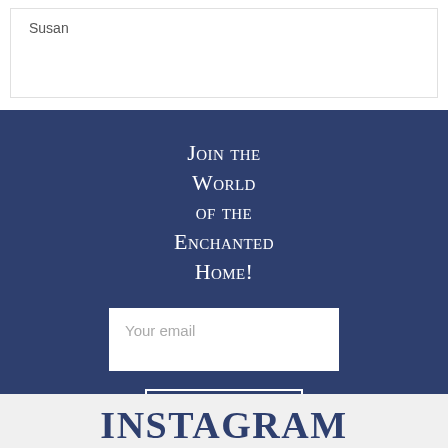Susan
Join the World of the Enchanted Home!
Your email
SUBSCRIBE
INSTAGRAM